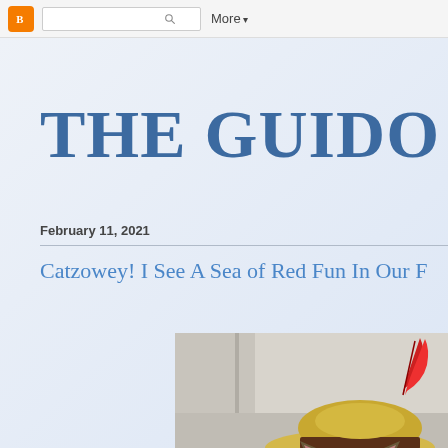Blogger navigation bar with search and More menu
THE GUIDO GA
February 11, 2021
Catzowey! I See A Sea of Red Fun In Our F
[Figure (photo): A cat wearing a yellow straw hat with a brown ribbon band and a red feather, peeking up from the bottom of the frame against a light background.]